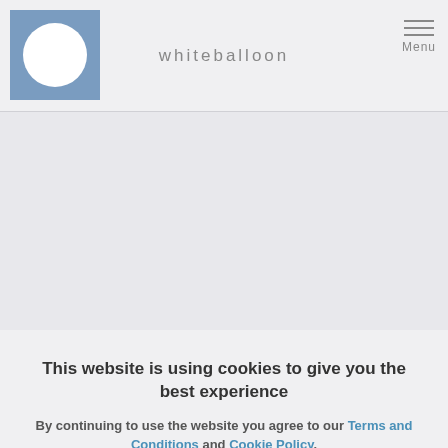whiteballoon
whiteballoon is delighted to support
This website is using cookies to give you the best experience
By continuing to use the website you agree to our Terms and Conditions and Cookie Policy.
Continue